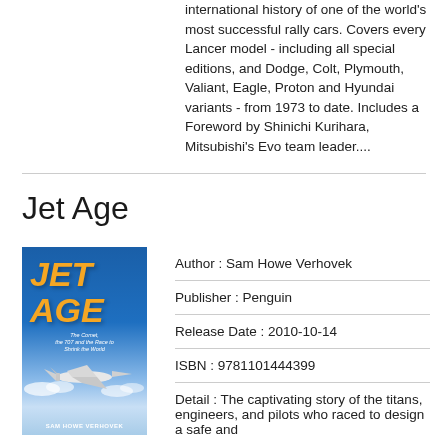international history of one of the world's most successful rally cars. Covers every Lancer model - including all special editions, and Dodge, Colt, Plymouth, Valiant, Eagle, Proton and Hyundai variants - from 1973 to date. Includes a Foreword by Shinichi Kurihara, Mitsubishi's Evo team leader....
Jet Age
[Figure (photo): Book cover of 'Jet Age' by Sam Howe Verhovek, featuring orange bold italic title text on a blue sky background with a jet airplane]
Author : Sam Howe Verhovek
Publisher : Penguin
Release Date : 2010-10-14
ISBN : 9781101444399
Detail : The captivating story of the titans, engineers, and pilots who raced to design a safe and